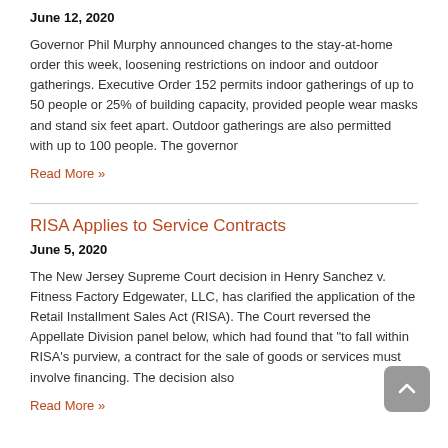June 12, 2020
Governor Phil Murphy announced changes to the stay-at-home order this week, loosening restrictions on indoor and outdoor gatherings. Executive Order 152 permits indoor gatherings of up to 50 people or 25% of building capacity, provided people wear masks and stand six feet apart.  Outdoor gatherings are also permitted with up to 100 people.  The governor
Read More »
RISA Applies to Service Contracts
June 5, 2020
The New Jersey Supreme Court decision in Henry Sanchez v. Fitness Factory Edgewater, LLC, has clarified the application of the Retail Installment Sales Act (RISA). The Court reversed the Appellate Division panel below, which had found that "to fall within RISA's purview, a contract for the sale of goods or services must involve financing.  The decision also
Read More »